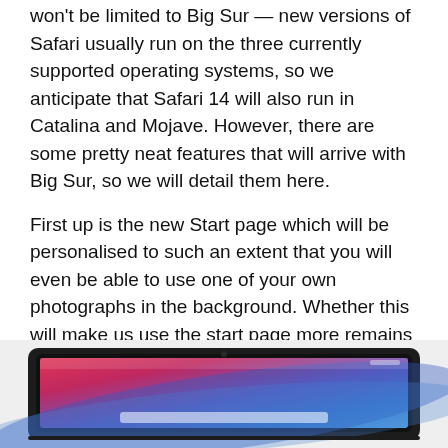won't be limited to Big Sur — new versions of Safari usually run on the three currently supported operating systems, so we anticipate that Safari 14 will also run in Catalina and Mojave. However, there are some pretty neat features that will arrive with Big Sur, so we will detail them here.
First up is the new Start page which will be personalised to such an extent that you will even be able to use one of your own photographs in the background. Whether this will make us use the start page more remains to be seen – we tend to pin tabs to the menu bar and click on the ones we need when we need them, so we rarely see the Start page.
[Figure (screenshot): Partial screenshot of a Mac laptop displaying macOS Big Sur with its gradient wallpaper featuring pink, purple, and blue abstract waves]